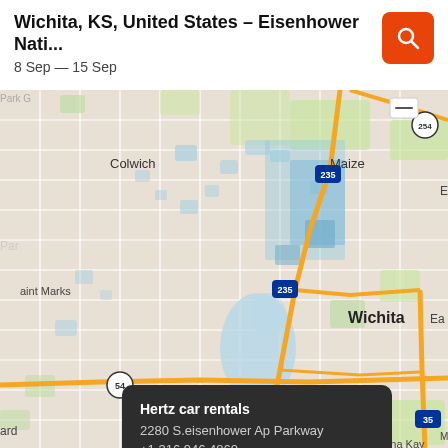Wichita, KS, United States – Eisenhower Nati...
8 Sep — 15 Sep
[Figure (map): Map of Wichita, KS area showing streets, highways (I-235, I-35, US-54, US-254), neighborhoods (Colwich, Maize, Saint Marks, Cessna, Wichita, Mona Kay Heights, Eas..., Jard), water features, and a popup for Hertz car rentals at 2280 S.eisenhower Ap Parkway, +1 316 946 4860, with a View deals link.]